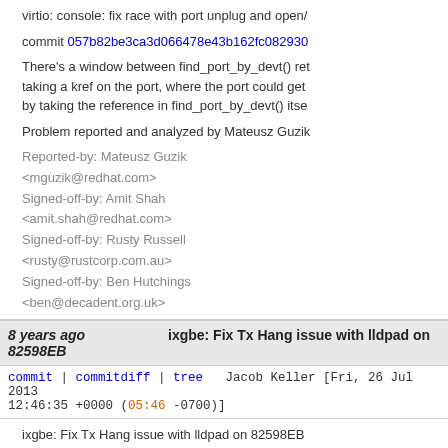virtio: console: fix race with port unplug and open/
commit 057b82be3ca3d066478e43b162fc082930
There's a window between find_port_by_devt() ret taking a kref on the port, where the port could get by taking the reference in find_port_by_devt() itse
Problem reported and analyzed by Mateusz Guzik
Reported-by: Mateusz Guzik <mguzik@redhat.com>
Signed-off-by: Amit Shah <amit.shah@redhat.com>
Signed-off-by: Rusty Russell <rusty@rustcorp.com.au>
Signed-off-by: Ben Hutchings <ben@decadent.org.uk>
8 years ago 82598EB
ixgbe: Fix Tx Hang issue with lldpad on
commit | commitdiff | tree   Jacob Keller [Fri, 26 Jul 2013 12:46:35 +0000 (05:46 -0700)]
ixgbe: Fix Tx Hang issue with lldpad on 82598EB
commit 1eb9ac14c34a948bf1538bfb9034e8ab290
This patch fixes an issue with the 82598EB device